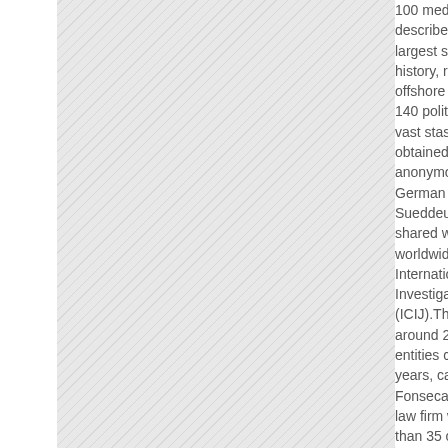[Figure (other): Hatched/diagonal striped gray panel occupying the left portion of the page]
100 media groups, described as one of the largest such projects in history, revealed the offshore assets of about 140 political figures, a vast stash of records obtained from an anonymous source by German daily Sueddeutsche Zeitung, shared with media worldwide by the International Consortium of Investigative Journalists (ICIJ).The documents, around 214,000 entities covering 40 years, came from Mossack Fonseca, a Panamanian law firm with offices in more than 35 countries under investigations around